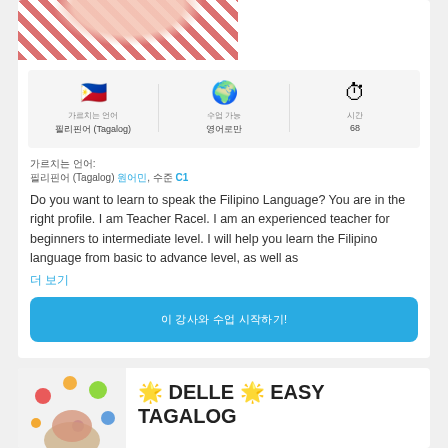[Figure (photo): Partial photo of teacher in red checkered shirt, cropped at top]
가르치는 언어: 필리핀어 (Tagalog) | 수업 가능: 영어로만 | 시간: 68
가르치는 언어: 필리핀어 (Tagalog) 원어민, 수준 C1
Do you want to learn to speak the Filipino Language? You are in the right profile. I am Teacher Racel. I am an experienced teacher for beginners to intermediate level. I will help you learn the Filipino language from basic to advance level, as well as
더 보기
이 강사와 수업 시작하기!
[Figure (photo): Photo of teacher with colorful dot decorations on background]
🌟 DELLE 🌟 EASY TAGALOG